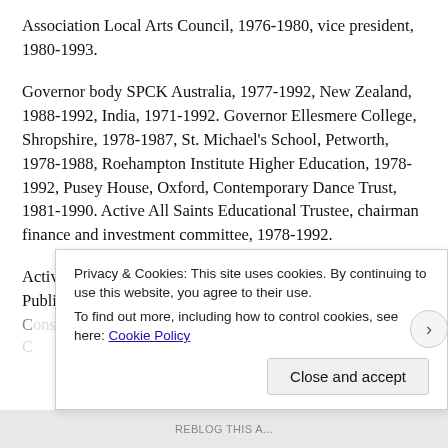Association Local Arts Council, 1976-1980, vice president, 1980-1993.
Governor body SPCK Australia, 1977-1992, New Zealand, 1988-1992, India, 1971-1992. Governor Ellesmere College, Shropshire, 1978-1987, St. Michael's School, Petworth, 1978-1988, Roehampton Institute Higher Education, 1978-1992, Pusey House, Oxford, Contemporary Dance Trust, 1981-1990. Active All Saints Educational Trustee, chairman finance and investment committee, 1978-1992.
Active Partnership for World Mission, 1979-1992, Church Public Committee, 1980-1984, Executive Anglican C... (partially obscured)
Privacy & Cookies: This site uses cookies. By continuing to use this website, you agree to their use.
To find out more, including how to control cookies, see here: Cookie Policy
[Close and accept]